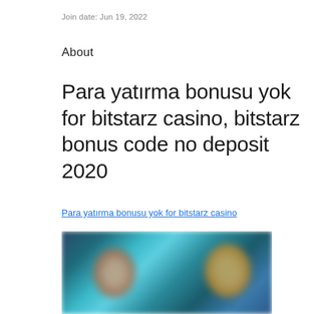Join date: Jun 19, 2022
About
Para yatırma bonusu yok for bitstarz casino, bitstarz bonus code no deposit 2020
Para yatırma bonusu yok for bitstarz casino
[Figure (photo): Blurred screenshot of a casino website with colorful background and character images]